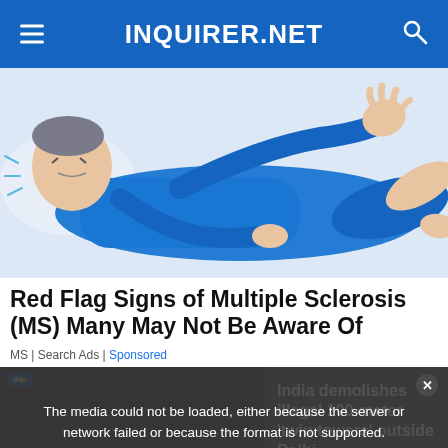INQUIRER.NET
[Figure (illustration): Illustration of a person in a blue suit lying down in distress, depicting symptoms of Multiple Sclerosis]
Red Flag Signs of Multiple Sclerosis (MS) Many May Not Be Aware Of
MS | Search Ads | Sponsored
[Figure (screenshot): Video player showing 'India demolishes illegal 100-meter twin towers outside Delhi' with an error message overlay: 'The media could not be loaded, either because the server or network failed or because the format is not supported.']